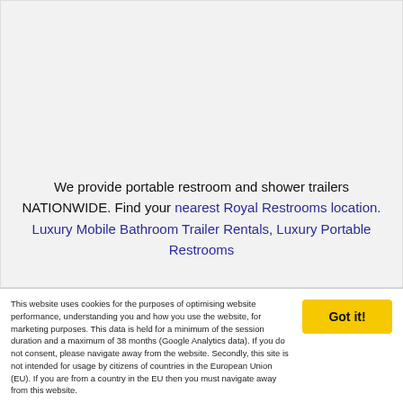We provide portable restroom and shower trailers NATIONWIDE. Find your nearest Royal Restrooms location. Luxury Mobile Bathroom Trailer Rentals, Luxury Portable Restrooms
This website uses cookies for the purposes of optimising website performance, understanding you and how you use the website, for marketing purposes. This data is held for a minimum of the session duration and a maximum of 38 months (Google Analytics data). If you do not consent, please navigate away from the website. Secondly, this site is not intended for usage by citizens of countries in the European Union (EU). If you are from a country in the EU then you must navigate away from this website.